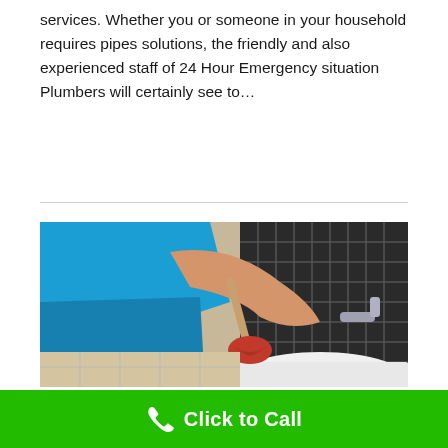services. Whether you or someone in your household requires pipes solutions, the friendly and also experienced staff of 24 Hour Emergency situation Plumbers will certainly see to…
[Figure (photo): A plumber in a blue shirt kneeling and using a plunger on a white bathroom sink, with dark tiled walls and a chrome faucet visible in the background.]
Click to Call